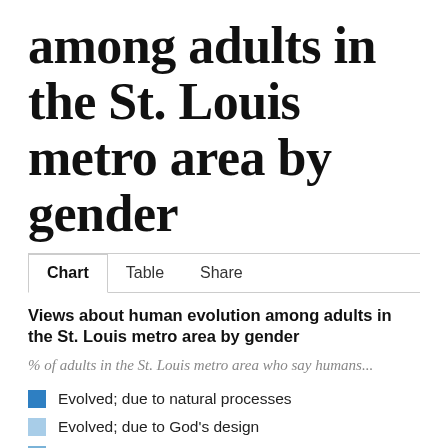among adults in the St. Louis metro area by gender
Views about human evolution among adults in the St. Louis metro area by gender
% of adults in the St. Louis metro area who say humans...
Evolved; due to natural processes
Evolved; due to God's design
Evolved; don't know how